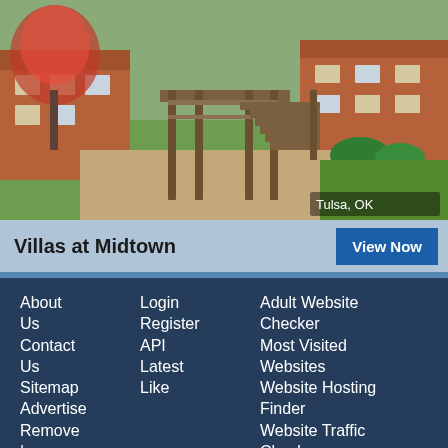[Figure (photo): Exterior photo of an apartment complex with wooden stairs/deck structure, trees, and green lawn. Located in Tulsa, OK.]
Villas at Midtown
View Now
About Us
Contact Us
Sitemap
Advertise
Remove | Help
Change privacy settings
Login
Register
API
Latest
Like
Adult Website Checker
Most Visited Websites
Website Hosting Finder
Website Traffic Checker
SEO Checker
Website Rankings
Website Safety Checker